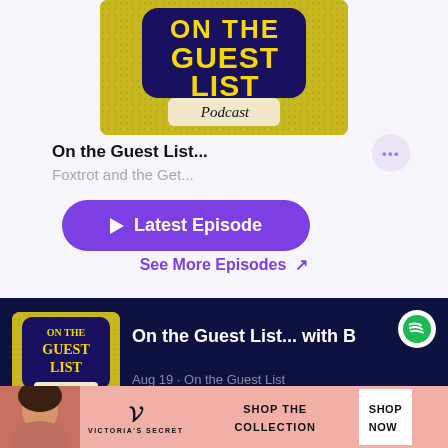[Figure (screenshot): Screenshot of a podcast app showing On the Guest List podcast cover art with yellow background and blue stylized text]
On the Guest List...
Foxtrot and the Get...
Latest Episode
See More Episodes ↗
[Figure (screenshot): Bottom dark banner showing Spotify podcast card for On the Guest List... with Spotify logo]
On the Guest List... with B
Aug 19 · On the Guest List
[Figure (photo): Victoria's Secret advertisement with a woman model, VS logo, and SHOP THE COLLECTION text]
SHOP THE COLLECTION
SHOP NOW